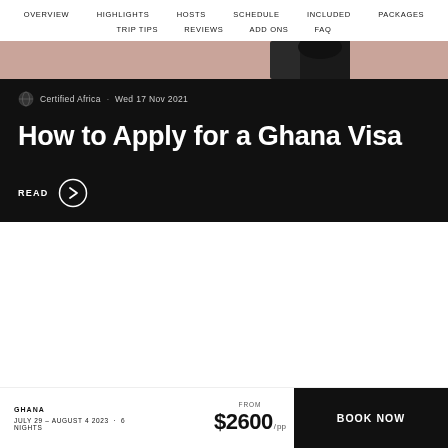OVERVIEW  HIGHLIGHTS  HOSTS  SCHEDULE  INCLUDED  PACKAGES  TRIP TIPS  REVIEWS  ADD ONS  FAQ
[Figure (photo): Partial view of a dark object on a pink/rose background, top portion of a card image]
Certified Africa · Wed 17 Nov 2021
How to Apply for a Ghana Visa
READ →
GHANA
JULY 29 – AUGUST 4 2023  ·  6 NIGHTS
FROM $2600/pp
BOOK NOW